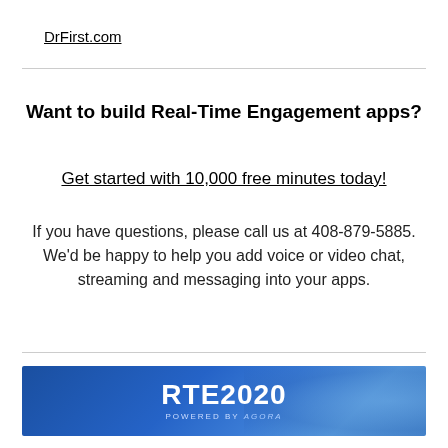DrFirst.com
Want to build Real-Time Engagement apps?
Get started with 10,000 free minutes today!
If you have questions, please call us at 408-879-5885. We'd be happy to help you add voice or video chat, streaming and messaging into your apps.
[Figure (logo): RTE2020 banner with blue gradient background. Text reads RTE2020 in large white bold letters, with 'POWERED BY agora' in small text below.]